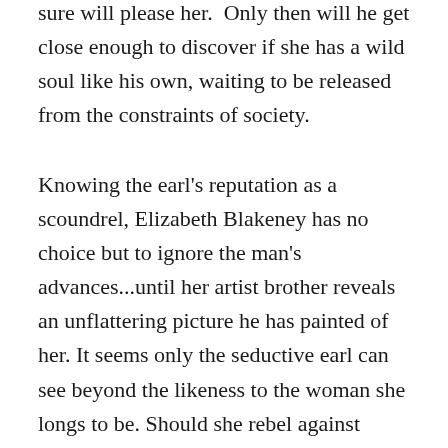sure will please her. Only then will he get close enough to discover if she has a wild soul like his own, waiting to be released from the constraints of society.
Knowing the earl's reputation as a scoundrel, Elizabeth Blakeney has no choice but to ignore the man's advances...until her artist brother reveals an unflattering picture he has painted of her. It seems only the seductive earl can see beyond the likeness to the woman she longs to be. Should she rebel against society and the damning portrait, throwing caution to the wind? Or should she remain as she appears, as reserved and unfeeling as paint on